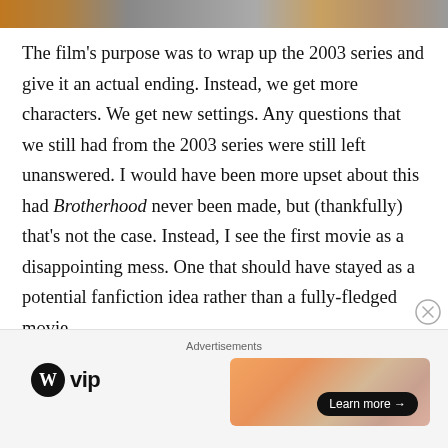[Figure (photo): Top portion of an image, partially cropped, showing warm amber/brown tones]
The film's purpose was to wrap up the 2003 series and give it an actual ending. Instead, we get more characters. We get new settings. Any questions that we still had from the 2003 series were still left unanswered. I would have been more upset about this had Brotherhood never been made, but (thankfully) that's not the case. Instead, I see the first movie as a disappointing mess. One that should have stayed as a potential fanfiction idea rather than a fully-fledged movie.
[Figure (logo): WordPress VIP logo and advertisement banner with 'Learn more' button]